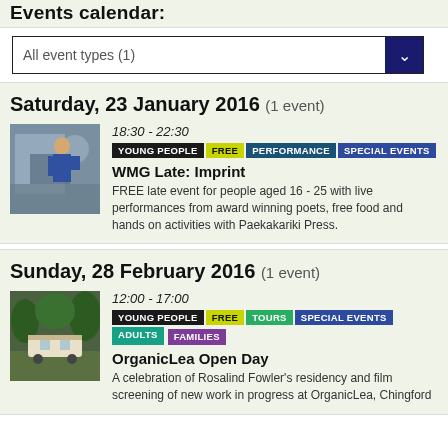Events calendar:
All event types (1)
Saturday, 23 January 2016 (1 event)
[Figure (photo): Person working at a printing press]
18:30 - 22:30
YOUNG PEOPLE FREE PERFORMANCE SPECIAL EVENTS
WMG Late: Imprint
FREE late event for people aged 16 - 25 with live performances from award winning poets, free food and hands on activities with Paekakariki Press.
Sunday, 28 February 2016 (1 event)
[Figure (photo): Wagon or caravan in a wooded area]
12:00 - 17:00
YOUNG PEOPLE FREE TOURS SPECIAL EVENTS ADULTS FAMILIES
OrganicLea Open Day
A celebration of Rosalind Fowler's residency and film screening of new work in progress at OrganicLea, Chingford